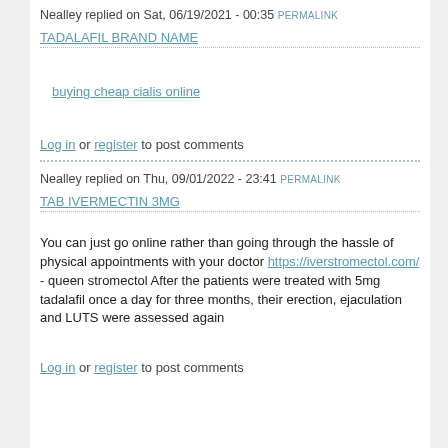Nealley replied on Sat, 06/19/2021 - 00:35 PERMALINK
TADALAFIL BRAND NAME
buying cheap cialis online
Log in or register to post comments
Nealley replied on Thu, 09/01/2022 - 23:41 PERMALINK
TAB IVERMECTIN 3MG
You can just go online rather than going through the hassle of physical appointments with your doctor https://iverstromectol.com/ - queen stromectol After the patients were treated with 5mg tadalafil once a day for three months, their erection, ejaculation and LUTS were assessed again
Log in or register to post comments